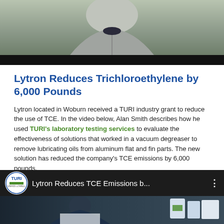[Figure (photo): Top portion of a video player showing a person in a grey zip-up sweatshirt, with a dark bottom bar typical of a video player UI.]
Lytron Reduces Trichloroethylene by 6,000 Pounds
Lytron located in Woburn received a TURI industry grant to reduce the use of TCE. In the video below, Alan Smith describes how he used TURI's laboratory testing services to evaluate the effectiveness of solutions that worked in a vacuum degreaser to remove lubricating oils from aluminum flat and fin parts. The new solution has reduced the company's TCE emissions by 6,000 pounds.
[Figure (screenshot): YouTube-style video thumbnail showing the TURI logo circle on the left, the title 'Lytron Reduces TCE Emissions b...' in white text, a three-dot menu icon, and below that a video frame of a person in a lab/industrial setting.]